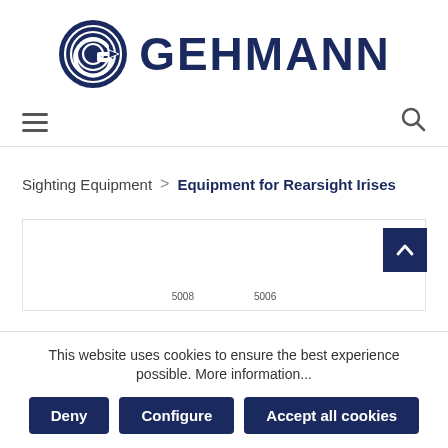[Figure (logo): Gehmann brand logo with circular G icon and GEHMANN text in dark navy blue]
[Figure (other): Navigation bar with hamburger menu icon on left and search icon on right]
Sighting Equipment > Equipment for Rearsight Irises
[Figure (other): Partially visible product listing area with scroll-up button and product labels 5008 and 5006]
This website uses cookies to ensure the best experience possible. More information...
Deny | Configure | Accept all cookies